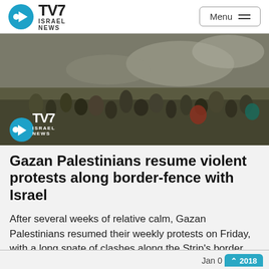TV7 ISRAEL NEWS — Menu
[Figure (photo): Crowd of Gazan Palestinian protesters in a field with smoke in the background; TV7 Israel News logo overlay in bottom-left corner]
Gazan Palestinians resume violent protests along border-fence with Israel
After several weeks of relative calm, Gazan Palestinians resumed their weekly protests on Friday, with a long spate of clashes along the Strip's border fence with Israel. Protesters were seen...
Jan 0 2018